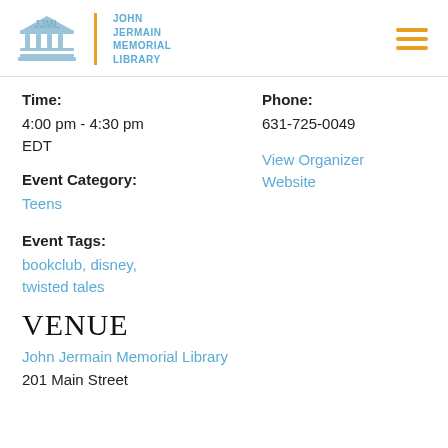JJML John Jermain Memorial Library
Time:
4:00 pm - 4:30 pm EDT
Phone:
631-725-0049
View Organizer Website
Event Category:
Teens
Event Tags:
bookclub, disney, twisted tales
VENUE
John Jermain Memorial Library
201 Main Street